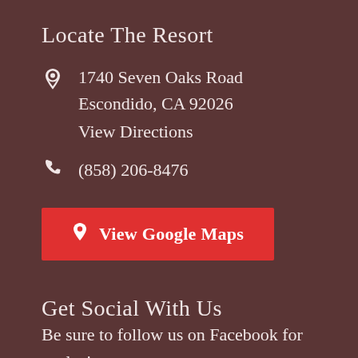Locate The Resort
1740 Seven Oaks Road
Escondido, CA 92026
View Directions
(858) 206-8476
View Google Maps
Get Social With Us
Be sure to follow us on Facebook for exclusive promotions and resort news. Share your photos